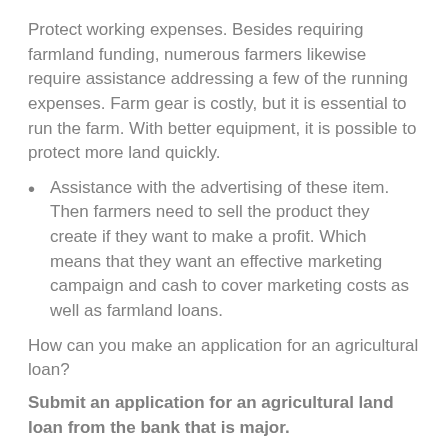Protect working expenses. Besides requiring farmland funding, numerous farmers likewise require assistance addressing a few of the running expenses. Farm gear is costly, but it is essential to run the farm. With better equipment, it is possible to protect more land quickly.
Assistance with the advertising of these item. Then farmers need to sell the product they create if they want to make a profit. Which means that they want an effective marketing campaign and cash to cover marketing costs as well as farmland loans.
How can you make an application for an agricultural loan?
Submit an application for an agricultural land loan from the bank that is major.
When farmers require financing, turn that is most with their regional banking institutions first. It has been more straightforward to get that loan through the bank which you typically work with. In case your credit is great, you ought to be capable of getting an affordable interest in your loan.